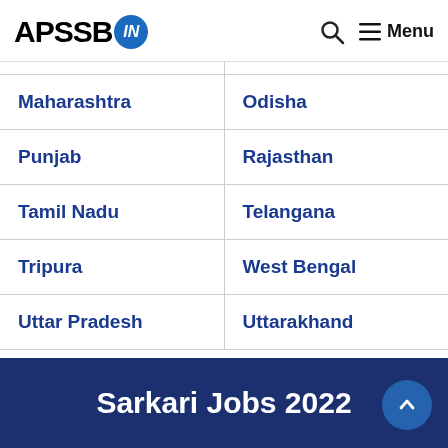APSSB.IN — Menu
| Maharashtra | Odisha |
| Punjab | Rajasthan |
| Tamil Nadu | Telangana |
| Tripura | West Bengal |
| Uttar Pradesh | Uttarakhand |
Sarkari Jobs 2022